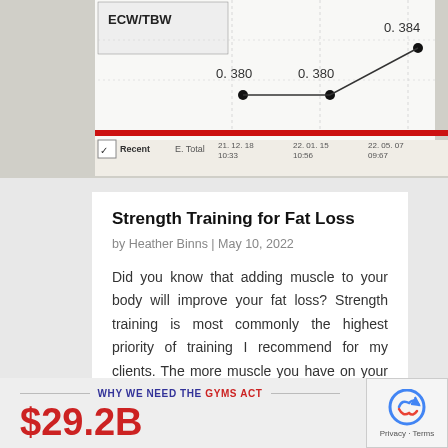[Figure (screenshot): Screenshot of a medical/fitness chart showing ECW/TBW values (0.380, 0.380, 0.384) with dates along the x-axis and a red horizontal line, partially cropped.]
Strength Training for Fat Loss
by Heather Binns | May 10, 2022
Did you know that adding muscle to your body will improve your fat loss? Strength training is most commonly the highest priority of training I recommend for my clients. The more muscle you have on your body, the more fat you're going to burn naturally. Too often,...
WHY WE NEED THE GYMS ACT
$29.2B
[Figure (logo): reCAPTCHA badge with logo and Privacy - Terms text]